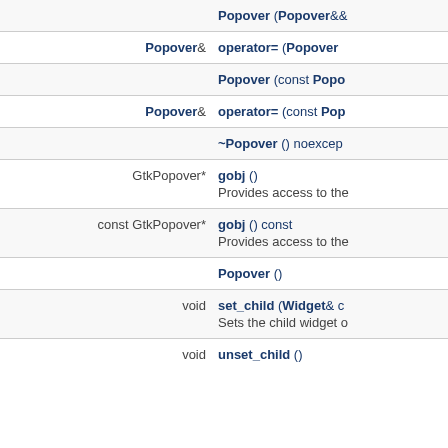| Return type | Method/Function |
| --- | --- |
|  | Popover (Popover&&… |
| Popover& | operator= (Popover… |
|  | Popover (const Popo… |
| Popover& | operator= (const Pop… |
|  | ~Popover () noexcep… |
| GtkPopover* | gobj () | Provides access to the… |
| const GtkPopover* | gobj () const | Provides access to the… |
|  | Popover () |
| void | set_child (Widget& c… | Sets the child widget o… |
| void | unset_child () |